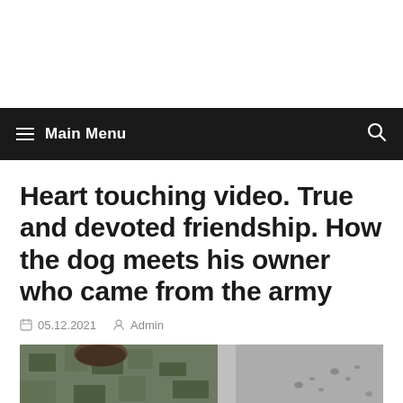Main Menu
Heart touching video. True and devoted friendship. How the dog meets his owner who came from the army
05.12.2021  Admin
[Figure (photo): A person in military camouflage uniform with US flag patch on sleeve bending down to embrace or nuzzle a dog, photographed from above on a gray pavement surface with paw prints visible]